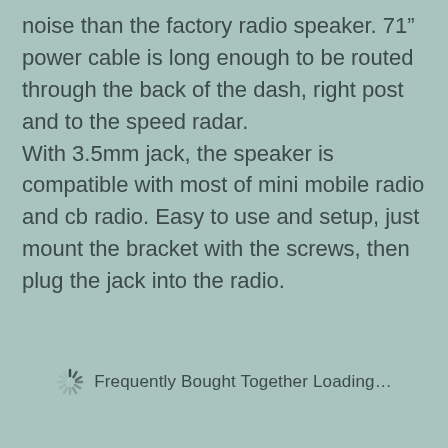noise than the factory radio speaker. 71" power cable is long enough to be routed through the back of the dash, right post and to the speed radar. With 3.5mm jack, the speaker is compatible with most of mini mobile radio and cb radio. Easy to use and setup, just mount the bracket with the screws, then plug the jack into the radio.
Frequently Bought Together Loading...